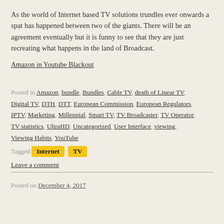As the world of Internet based TV solutions trundles ever onwards a spat has happened between two of the giants. There will be an agreement eventually but it is funny to see that they are just recreating what happens in the land of Broadcast.
Amazon in Youtube Blackout
Posted in Amazon, bundle, Bundles, Cable TV, death of Linear TV, Digital TV, DTH, DTT, European Commission, European Regulators, IPTV, Marketing, Millennial, Smart TV, TV Broadcaster, TV Operator, TV statistics, UltraHD, Uncategorized, User Interface, viewing, Viewing Habits, YouTube
Tagged Internet TV
Leave a comment
Posted on December 4, 2017